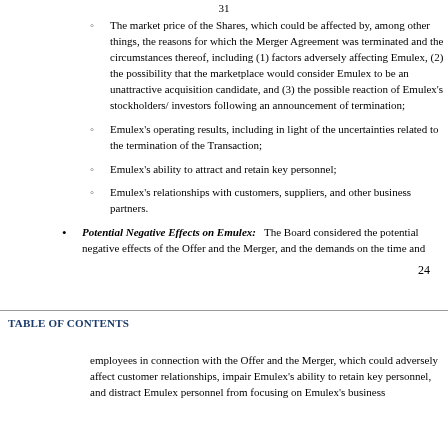31
The market price of the Shares, which could be affected by, among other things, the reasons for which the Merger Agreement was terminated and the circumstances thereof, including (1) factors adversely affecting Emulex, (2) the possibility that the marketplace would consider Emulex to be an unattractive acquisition candidate, and (3) the possible reaction of Emulex's stockholders/investors following an announcement of termination;
Emulex's operating results, including in light of the uncertainties related to the termination of the Transaction;
Emulex's ability to attract and retain key personnel;
Emulex's relationships with customers, suppliers, and other business partners.
Potential Negative Effects on Emulex:   The Board considered the potential negative effects of the Offer and the Merger, and the demands on the time and
24
TABLE OF CONTENTS
employees in connection with the Offer and the Merger, which could adversely affect customer relationships, impair Emulex's ability to retain key personnel, and distract Emulex personnel from focusing on Emulex's b